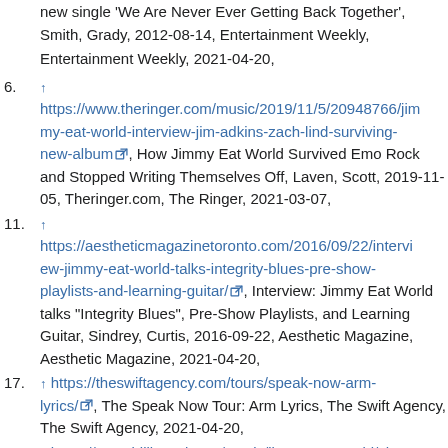(continuation) new single 'We Are Never Ever Getting Back Together', Smith, Grady, 2012-08-14, Entertainment Weekly, Entertainment Weekly, 2021-04-20,
4. ↑ https://www.theringer.com/music/2019/11/5/20948766/jimmy-eat-world-interview-jim-adkins-zach-lind-surviving-new-album, How Jimmy Eat World Survived Emo Rock and Stopped Writing Themselves Off, Laven, Scott, 2019-11-05, Theringer.com, The Ringer, 2021-03-07,
5. ↑ https://aestheticmagazinetoronto.com/2016/09/22/interview-jimmy-eat-world-talks-integrity-blues-pre-show-playlists-and-learning-guitar/, Interview: Jimmy Eat World talks "Integrity Blues", Pre-Show Playlists, and Learning Guitar, Sindrey, Curtis, 2016-09-22, Aesthetic Magazine, Aesthetic Magazine, 2021-04-20,
6. ↑ https://theswiftagency.com/tours/speak-now-arm-lyrics/, The Speak Now Tour: Arm Lyrics, The Swift Agency, The Swift Agency, 2021-04-20,
7. ↑ https://www.billboard.com/music/jimmy-eat-world/chart...